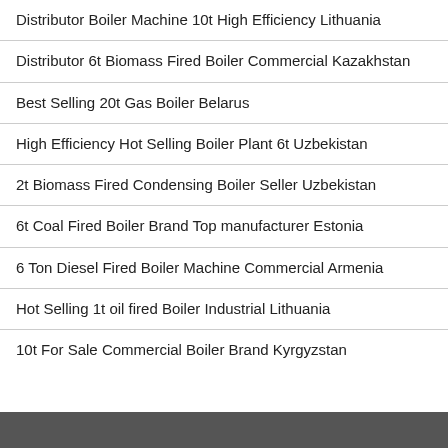Distributor Boiler Machine 10t High Efficiency Lithuania
Distributor 6t Biomass Fired Boiler Commercial Kazakhstan
Best Selling 20t Gas Boiler Belarus
High Efficiency Hot Selling Boiler Plant 6t Uzbekistan
2t Biomass Fired Condensing Boiler Seller Uzbekistan
6t Coal Fired Boiler Brand Top manufacturer Estonia
6 Ton Diesel Fired Boiler Machine Commercial Armenia
Hot Selling 1t oil fired Boiler Industrial Lithuania
10t For Sale Commercial Boiler Brand Kyrgyzstan
[Figure (photo): Dark textured background, likely industrial material or surface, visible at the bottom of the page.]